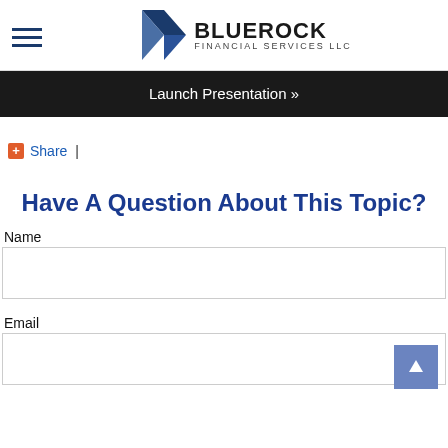Bluerock Financial Services LLC
Launch Presentation »
+ Share |
Have A Question About This Topic?
Name
Email